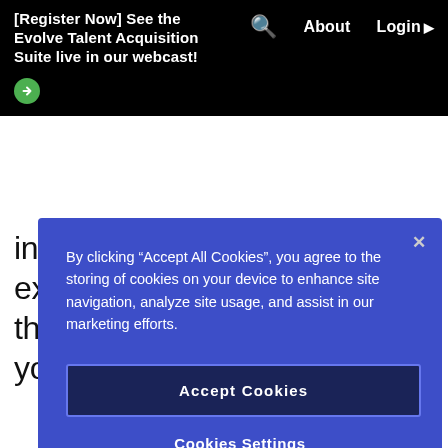[Register Now] See the Evolve Talent Acquisition Suite live in our webcast!
By clicking “Accept All Cookies”, you agree to the storing of cookies on your device to enhance site navigation, analyze site usage, and assist in our marketing efforts.
Accept Cookies
Cookies Settings
indicate skills and experiences that may restrict the diversity and inclusion of your applicant pool.